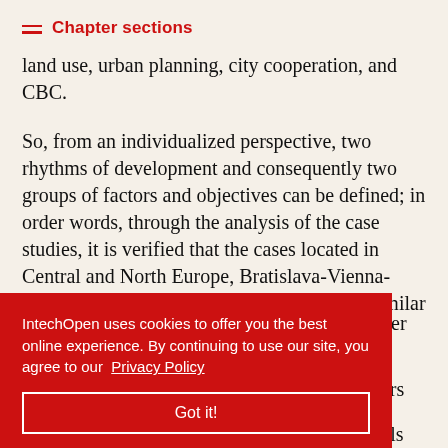Chapter sections
land use, urban planning, city cooperation, and CBC.
So, from an individualized perspective, two rhythms of development and consequently two groups of factors and objectives can be defined; in order words, through the analysis of the case studies, it is verified that the cases located in Central and North Europe, Bratislava-Vienna-Brno-Győr, and Copenhagen-Malmö, have similar objectives, i.e., [...]d stronger [...]Europe, [...]he factors [...]ls and [...]ing significant disparities in the development levels
IntechOpen uses cookies to offer you the best online experience. By continuing to use our site, you agree to our Privacy Policy

Got it!